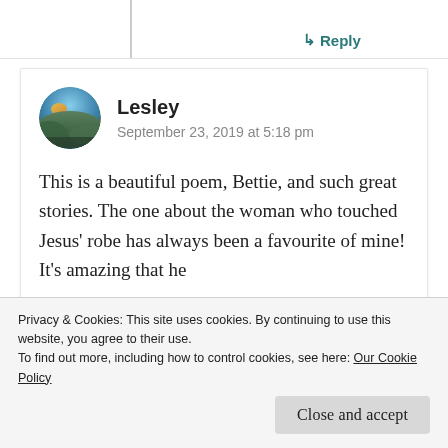↳ Reply
[Figure (photo): Circular avatar photo showing a landscape with city/hills and sky at dusk]
Lesley
September 23, 2019 at 5:18 pm
This is a beautiful poem, Bettie, and such great stories. The one about the woman who touched Jesus' robe has always been a favourite of mine! It's amazing that he
Privacy & Cookies: This site uses cookies. By continuing to use this website, you agree to their use.
To find out more, including how to control cookies, see here: Our Cookie Policy
Close and accept